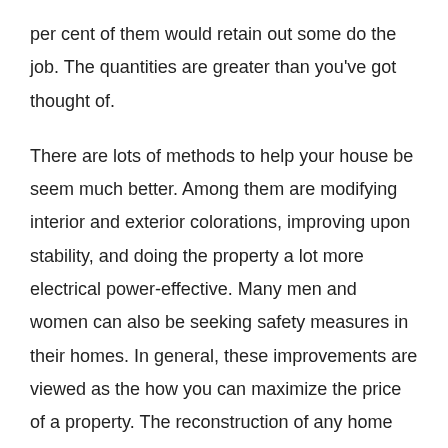per cent of them would retain out some do the job. The quantities are greater than you've got thought of.
There are lots of methods to help your house be seem much better. Among them are modifying interior and exterior colorations, improving upon stability, and doing the property a lot more electrical power-effective. Many men and women can also be seeking safety measures in their homes. In general, these improvements are viewed as the how you can maximize the price of a property. The reconstruction of any home can boost the property by reduction of its price tag. You should be sure that these changes are created just before stepping into it.